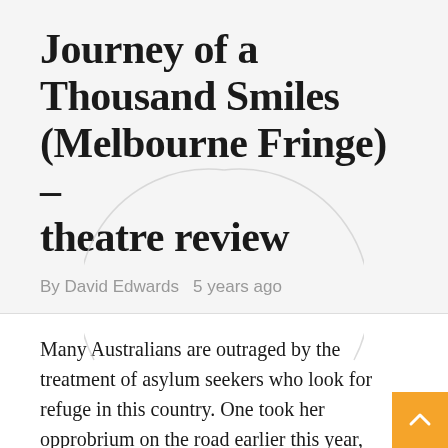Journey of a Thousand Smiles (Melbourne Fringe) – theatre review
By David Edwards   5 years ago
Many Australians are outraged by the treatment of asylum seekers who look for refuge in this country. One took her opprobrium on the road earlier this year, delivering a petition with more than 17,000 signatures to the Federal Member for McMillan Russell Broadbent. Mr Broadbent, in a show of